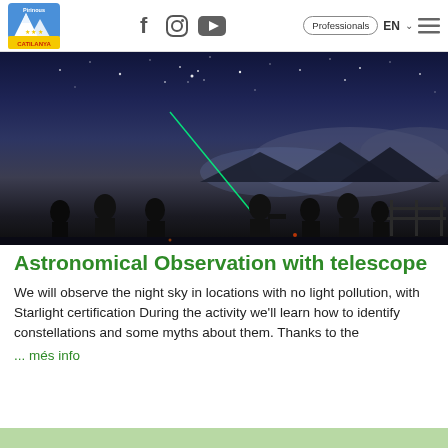Pirinous Catilanya | f | Instagram | YouTube | Professionals | EN | menu
[Figure (photo): Night sky stargazing photo: silhouettes of people standing outdoors at night with a green laser pointer aimed at the starry sky, mountains in the background wrapped in fog/mist, deep blue-purple night sky with scattered stars.]
Astronomical Observation with telescope
We will observe the night sky in locations with no light pollution, with Starlight certification During the activity we'll learn how to identify constellations and some myths about them. Thanks to the
... més info